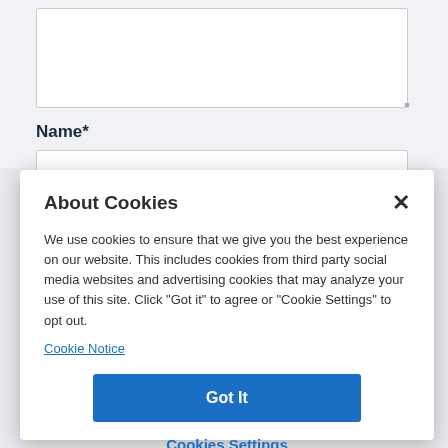[Figure (screenshot): Web form background showing a textarea and a Name* text input field on a light grey background]
Name*
About Cookies
We use cookies to ensure that we give you the best experience on our website. This includes cookies from third party social media websites and advertising cookies that may analyze your use of this site. Click "Got it" to agree or "Cookie Settings" to opt out.
Cookie Notice
Got It
Cookies Settings